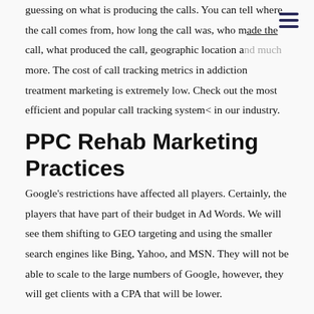guessing on what is producing the calls. You can tell where the call comes from, how long the call was, who made the call, what produced the call, geographic location and much more. The cost of call tracking metrics in addiction treatment marketing is extremely low. Check out the most efficient and popular call tracking system< in our industry.
PPC Rehab Marketing Practices
Google's restrictions have affected all players. Certainly, the players that have part of their budget in Ad Words. We will see them shifting to GEO targeting and using the smaller search engines like Bing, Yahoo, and MSN. They will not be able to scale to the large numbers of Google, however, they will get clients with a CPA that will be lower.